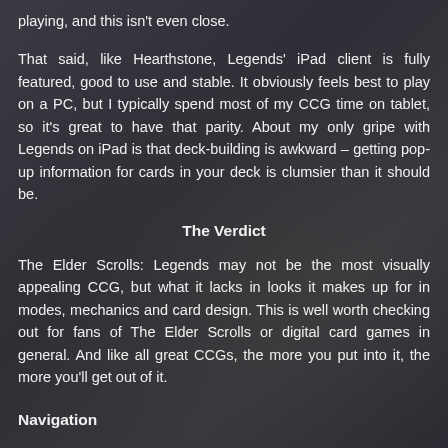playing, and this isn't even close.
That said, like Hearthstone, Legends' iPad client is fully featured, good to use and stable. It obviously feels best to play on a PC, but I typically spend most of my CCG time on tablet, so it's great to have that parity. About my only gripe with Legends on iPad is that deck-building is awkward – getting pop-up information for cards in your deck is clumsier than it should be.
The Verdict
The Elder Scrolls: Legends may not be the most visually appealing CCG, but what it lacks in looks it makes up for in modes, mechanics and card design. This is well worth checking out for fans of The Elder Scrolls or digital card games in general. And like all great CCGs, the more you put into it, the more you'll get out of it.
Navigation